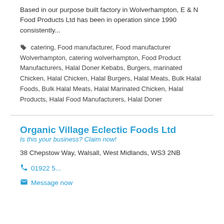Based in our purpose built factory in Wolverhampton, E & N Food Products Ltd has been in operation since 1990 consistently...
catering, Food manufacturer, Food manufacturer Wolverhampton, catering wolverhampton, Food Product Manufacturers, Halal Doner Kebabs, Burgers, marinated Chicken, Halal Chicken, Halal Burgers, Halal Meats, Bulk Halal Foods, Bulk Halal Meats, Halal Marinated Chicken, Halal Products, Halal Food Manufacturers, Halal Doner
Organic Village Eclectic Foods Ltd
Is this your business? Claim now!
38 Chepstow Way, Walsall, West Midlands, WS3 2NB
01922 5...
Message now